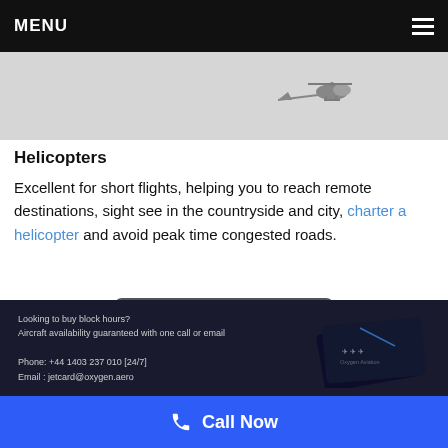MENU
[Figure (photo): Partial view of helicopter against grey sky background]
Helicopters
Excellent for short flights, helping you to reach remote destinations, sight see in the countryside and city, charter a helicopter and avoid peak time congested roads.
Send me a free quotation
Looking to buy block hours? Aircraft availability guaranteed with one call or email
Phone: +44 1403 237 010 [24/7]
Email : jetcard@oxygen.aero
Call Now